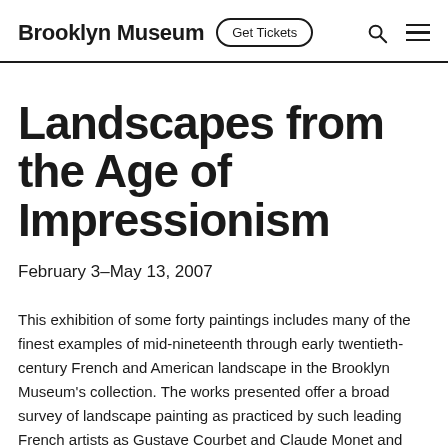Brooklyn Museum  Get Tickets
Landscapes from the Age of Impressionism
February 3–May 13, 2007
This exhibition of some forty paintings includes many of the finest examples of mid-nineteenth through early twentieth-century French and American landscape in the Brooklyn Museum's collection. The works presented offer a broad survey of landscape painting as practiced by such leading French artists as Gustave Courbet and Claude Monet and their most significant American followers, including Frederick Child Has